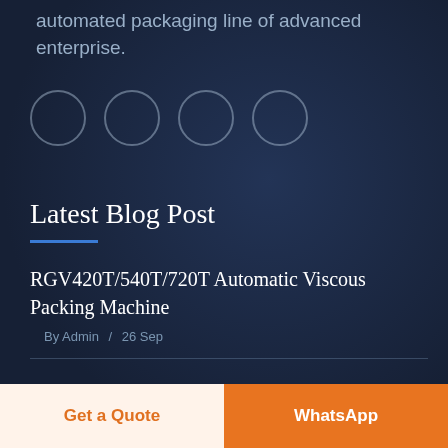automated packaging line of advanced enterprise.
[Figure (illustration): Four empty circles arranged horizontally, representing social media or navigation icons with circular borders on dark background.]
Latest Blog Post
RGV420T/540T/720T Automatic Viscous Packing Machine
By Admin / 26 Sep
RIDGE V2120 Automatic High Speed Viscous Packaging Machine
Get a Quote
WhatsApp